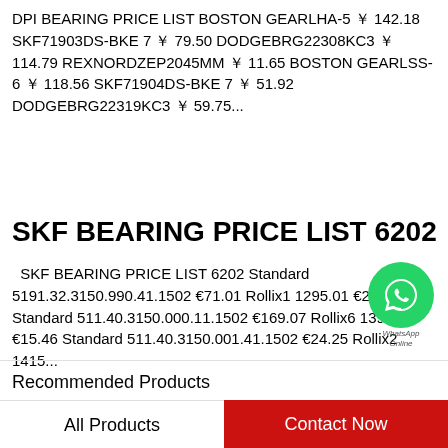DPI BEARING PRICE LIST BOSTON GEARLHA-5 ￥ 142.18 SKF71903DS-BKE 7 ￥ 79.50 DODGEBRG22308KC3 ￥ 114.79 REXNORDZEP2045MM ￥ 11.65 BOSTON GEARLSS-6 ￥ 118.56 SKF71904DS-BKE 7 ￥ 51.92 DODGEBRG22319KC3 ￥ 59.75...
SKF BEARING PRICE LIST 6202
SKF BEARING PRICE LIST 6202 Standard 5191.32.3150.990.41.1502 €71.01 Rollix1 1295.01 €28.98 Standard 511.40.3150.000.11.1502 €169.07 Rollix6 1390 03 €15.46 Standard 511.40.3150.001.41.1502 €24.25 Rollix2 1415...
Recommended Products
[Figure (photo): Partial product image on the left side, grayscale bearing/mechanical component]
[Figure (photo): Partial product image on the right side, light gray bearing component]
All Products
Contact Now